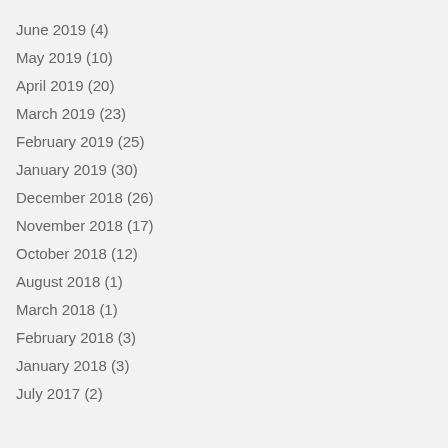June 2019 (4)
May 2019 (10)
April 2019 (20)
March 2019 (23)
February 2019 (25)
January 2019 (30)
December 2018 (26)
November 2018 (17)
October 2018 (12)
August 2018 (1)
March 2018 (1)
February 2018 (3)
January 2018 (3)
July 2017 (2)